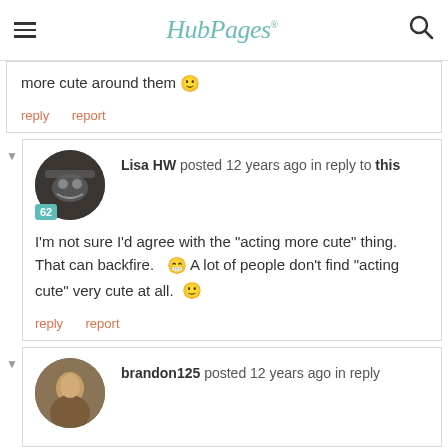HubPages
more cute around them 🙂
reply   report
[Figure (photo): Avatar of Lisa HW with badge 62]
Lisa HW posted 12 years ago in reply to this
I'm not sure I'd agree with the "acting more cute" thing. That can backfire. 😁 A lot of people don't find "acting cute" very cute at all. 🙂
reply   report
[Figure (photo): Avatar of brandon125]
brandon125 posted 12 years ago in reply